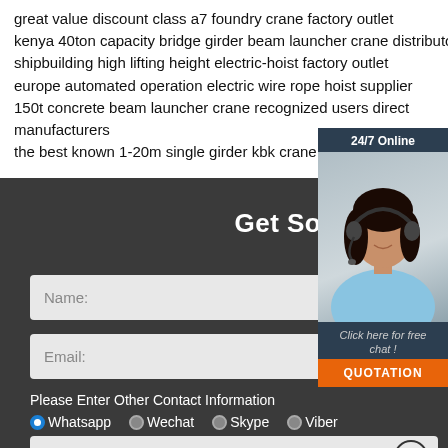great value discount class a7 foundry crane factory outlet
kenya 40ton capacity bridge girder beam launcher crane distributor
shipbuilding high lifting height electric-hoist factory outlet
europe automated operation electric wire rope hoist supplier
150t concrete beam launcher crane recognized users direct manufacturers
the best known 1-20m single girder kbk crane distribut
[Figure (photo): Customer service agent with headset, chat widget with 24/7 Online label, Click here for free chat! text, and QUOTATION orange button]
Get Solutions & Quotatio
Name:
Email:
Please Enter Other Contact Information
Whatsapp   Wechat   Skype   Viber
Contact information Whatsapp